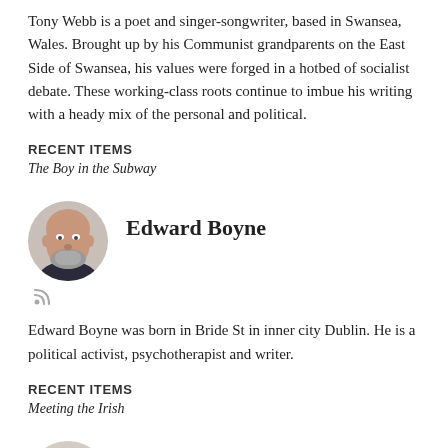Tony Webb is a poet and singer-songwriter, based in Swansea, Wales. Brought up by his Communist grandparents on the East Side of Swansea, his values were forged in a hotbed of socialist debate. These working-class roots continue to imbue his writing with a heady mix of the personal and political.
RECENT ITEMS
The Boy in the Subway
Edward Boyne
[Figure (photo): Circular profile photo of Edward Boyne, a bald man with a grey beard wearing a dark jacket, with an RSS feed icon below.]
Edward Boyne was born in Bride St in inner city Dublin. He is a political activist, psychotherapist and writer.
RECENT ITEMS
Meeting the Irish
Christopher Norris
[Figure (photo): Circular profile photo of Christopher Norris, partially visible at the bottom of the page.]